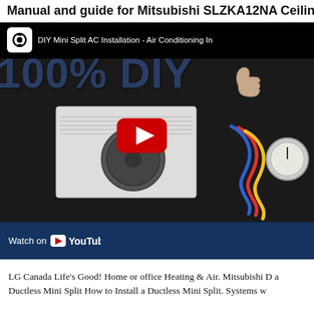Manual and guide for Mitsubishi SLZKA12NA Ceiling
[Figure (screenshot): YouTube video thumbnail for 'DIY Mini Split AC Installation - Air Conditioning In...' showing a 100% DIY overlay text, an outdoor AC/heat pump unit with refrigerant gauges, a person giving thumbs up, and a YouTube play button in the center. Bottom bar shows 'Watch on YouTube' and partial text 'lit AC Installa'.]
LG Canada Life's Good! Home or office Heating & Air. Mitsubishi D a Ductless Mini Split How to Install a Ductless Mini Split. Systems w